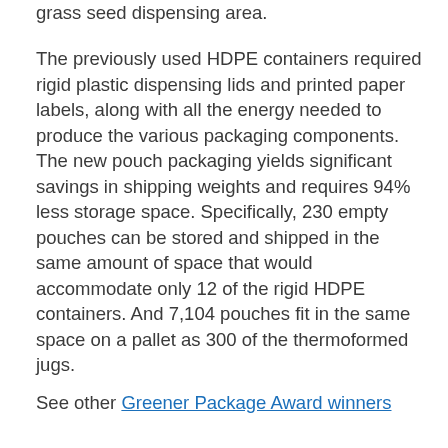grass seed dispensing area.
The previously used HDPE containers required rigid plastic dispensing lids and printed paper labels, along with all the energy needed to produce the various packaging components. The new pouch packaging yields significant savings in shipping weights and requires 94% less storage space. Specifically, 230 empty pouches can be stored and shipped in the same amount of space that would accommodate only 12 of the rigid HDPE containers. And 7,104 pouches fit in the same space on a pallet as 300 of the thermoformed jugs.
See other Greener Package Award winners